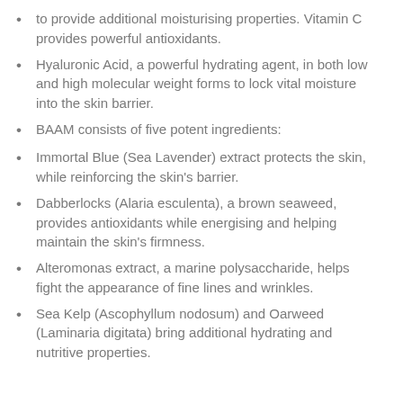to provide additional moisturising properties. Vitamin C provides powerful antioxidants.
Hyaluronic Acid, a powerful hydrating agent, in both low and high molecular weight forms to lock vital moisture into the skin barrier.
BAAM consists of five potent ingredients:
Immortal Blue (Sea Lavender) extract protects the skin, while reinforcing the skin's barrier.
Dabberlocks (Alaria esculenta), a brown seaweed, provides antioxidants while energising and helping maintain the skin's firmness.
Alteromonas extract, a marine polysaccharide, helps fight the appearance of fine lines and wrinkles.
Sea Kelp (Ascophyllum nodosum) and Oarweed (Laminaria digitata) bring additional hydrating and nutritive properties.